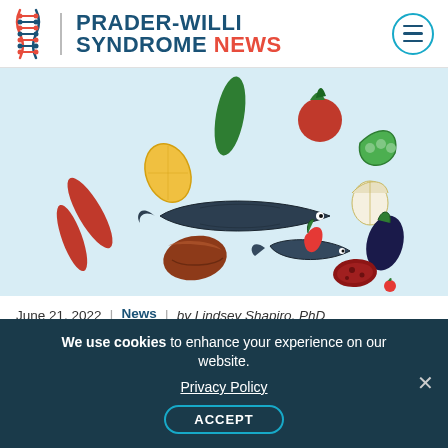PRADER-WILLI SYNDROME NEWS
[Figure (illustration): Illustration of various foods including fish, vegetables, meat, sausages, tomato, lemon, eggplant, garlic, peas, and other items on a light blue background.]
June 21, 2022 | News | by Lindsey Shapiro, PhD
Diet, Medication Can Help in Weight Loss for Obese Patients: Adherence Needed
We use cookies to enhance your experience on our website. Privacy Policy ACCEPT